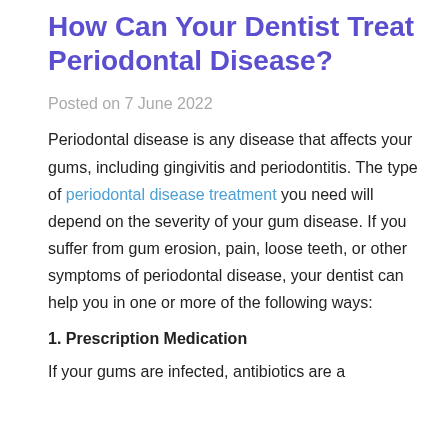How Can Your Dentist Treat Periodontal Disease?
Posted on 7 June 2022
Periodontal disease is any disease that affects your gums, including gingivitis and periodontitis. The type of periodontal disease treatment you need will depend on the severity of your gum disease. If you suffer from gum erosion, pain, loose teeth, or other symptoms of periodontal disease, your dentist can help you in one or more of the following ways:
1. Prescription Medication
If your gums are infected, antibiotics are a